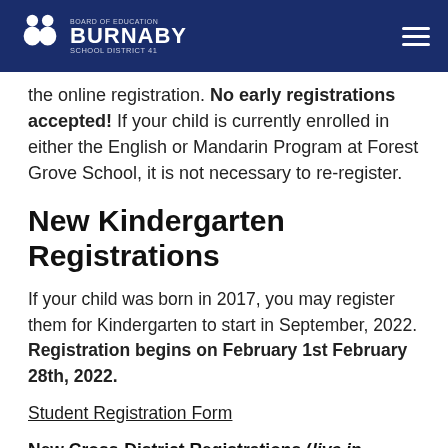Board of Education Burnaby School District 41
the online registration. No early registrations accepted! If your child is currently enrolled in either the English or Mandarin Program at Forest Grove School, it is not necessary to re-register.
New Kindergarten Registrations
If your child was born in 2017, you may register them for Kindergarten to start in September, 2022. Registration begins on February 1st February 28th, 2022.
Student Registration Form
New Cross-District Registrations (live in Burnaby,